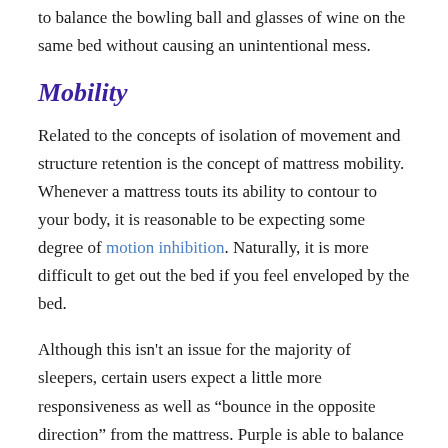to balance the bowling ball and glasses of wine on the same bed without causing an unintentional mess.
Mobility
Related to the concepts of isolation of movement and structure retention is the concept of mattress mobility. Whenever a mattress touts its ability to contour to your body, it is reasonable to be expecting some degree of motion inhibition. Naturally, it is more difficult to get out the bed if you feel enveloped by the bed.
Although this isn't an issue for the majority of sleepers, certain users expect a little more responsiveness as well as “bounce in the opposite direction” from the mattress. Purple is able to balance this well, even though it is an all-foam mattress. Memory foam generally is prone to completely sinking the body of the user and making it difficult to get out of bed. The proprietary Purple grid layer is the reason for its